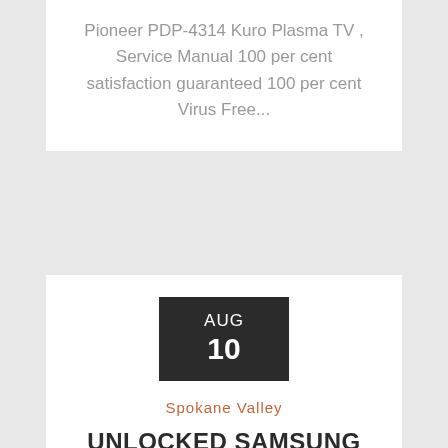Pioneer PDP-4314 Kuro Plasma TV , Service Manual 100 per cent satisfaction guaranteed 100 per cent Virus Free...
[Figure (other): Dark square date badge showing AUG 10]
Spokane Valley
UNLOCKED SAMSUNG NOTE 9 USER MANUAL PDF DOWNLOAD
Unlocked samsung note 9 user manual pdf download Apr 18, 2017 : Want to get your